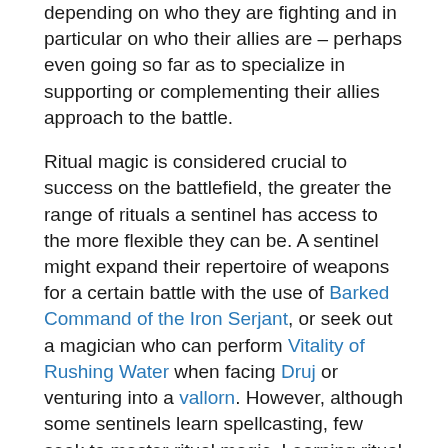depending on who they are fighting and in particular on who their allies are – perhaps even going so far as to specialize in supporting or complementing their allies approach to the battle.
Ritual magic is considered crucial to success on the battlefield, the greater the range of rituals a sentinel has access to the more flexible they can be. A sentinel might expand their repertoire of weapons for a certain battle with the use of Barked Command of the Iron Serjant, or seek out a magician who can perform Vitality of Rushing Water when facing Druj or venturing into a vallorn. However, although some sentinels learn spellcasting, few seek to master ritual magic. Learning ritual lore is a time-consuming process that requires the sentinel to split their focus - something that inevitably compromises their arete. Better to focus on perfecting martial skills and seek out the right coven for aid when it is needed.